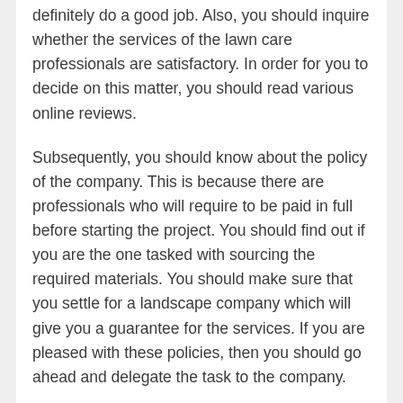definitely do a good job. Also, you should inquire whether the services of the lawn care professionals are satisfactory. In order for you to decide on this matter, you should read various online reviews.
Subsequently, you should know about the policy of the company. This is because there are professionals who will require to be paid in full before starting the project. You should find out if you are the one tasked with sourcing the required materials. You should make sure that you settle for a landscape company which will give you a guarantee for the services. If you are pleased with these policies, then you should go ahead and delegate the task to the company.
Also, you should make sure that you settle for a timely company. You may intend to have the landscape worked on by a certain date. That is why you need to hire a landscaping company which will be in a position to adhere to your demands.
At the end of the day, you will want the outlook of your